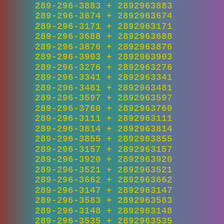289-296-3883 + 2892963883
289-296-3674 + 2892963674
289-296-3171 + 2892963171
289-296-3688 + 2892963688
289-296-3876 + 2892963876
289-296-3903 + 2892963903
289-296-3276 + 2892963276
289-296-3341 + 2892963341
289-296-3481 + 2892963481
289-296-3597 + 2892963597
289-296-3760 + 2892963760
289-296-3111 + 2892963111
289-296-3814 + 2892963814
289-296-3855 + 2892963855
289-296-3157 + 2892963157
289-296-3920 + 2892963920
289-296-3521 + 2892963521
289-296-3662 + 2892963662
289-296-3147 + 2892963147
289-296-3583 + 2892963583
289-296-3148 + 2892963148
289-296-3535 + 2892963535
289-296-3698 + 2892963698